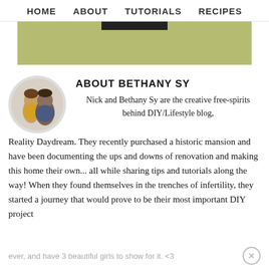HOME   ABOUT   TUTORIALS   RECIPES
[Figure (illustration): Partial banner image with olive/sage green background and a dark horizontal bar at the top center]
ABOUT BETHANY SY
[Figure (photo): Circular profile photo of a couple (Nick and Bethany Sy)]
Nick and Bethany Sy are the creative free-spirits behind DIY/Lifestyle blog, Reality Daydream. They recently purchased a historic mansion and have been documenting the ups and downs of renovation and making this home their own... all while sharing tips and tutorials along the way! When they found themselves in the trenches of infertility, they started a journey that would prove to be their most important DIY project
ever, and have 3 beautiful girls to show for it. <3